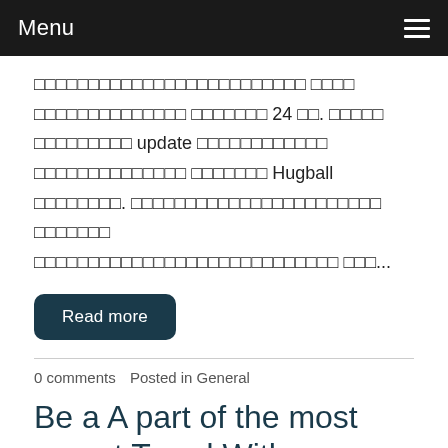Menu
□□□□□□□□□□□□□□□□□□□□□□□□□ □□□□ □□□□□□□□□□□□□□ □□□□□□□ 24 □□. □□□□□ □□□□□□□□□ update □□□□□□□□□□□□ □□□□□□□□□□□□□□ □□□□□□□ Hugball □□□□□□□□. □□□□□□□□□□□□□□□□□□□□□□□ □□□□□□□ □□□□□□□□□□□□□□□□□□□□□□□□□□□□ □□□...
Read more
0 comments   Posted in General
Be a A part of the most recent Trend With Wooden Eyewear